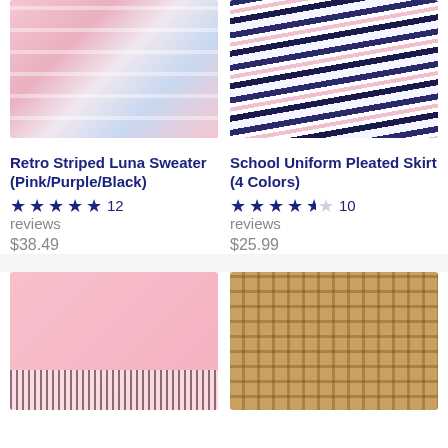[Figure (photo): Pink and white striped sweater worn by a person outdoors]
Retro Striped Luna Sweater (Pink/Purple/Black)
★★★★★ 12 reviews
$38.49
[Figure (photo): School uniform pleated skirts in navy/pink/black colors fanned out]
School Uniform Pleated Skirt (4 Colors)
★★★★½ 10 reviews
$25.99
[Figure (photo): Girl wearing pink strawberry milk t-shirt and plaid skirt]
[Figure (photo): Tan plaid pleated skirt laying flat]